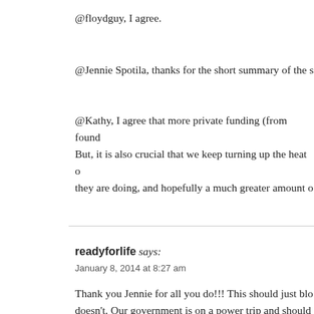@floydguy, I agree.
@Jennie Spotila, thanks for the short summary of the s
@Kathy, I agree that more private funding (from found... But, it is also crucial that we keep turning up the heat o... they are doing, and hopefully a much greater amount o...
readyforlife says:
January 8, 2014 at 8:27 am
Thank you Jennie for all you do!!! This should just blo... doesn't. Our government is on a power trip and should... the ones who vote and pay taxes and should have a say... meetings when the NIH just does what ever they want.
@Jennie Spotila